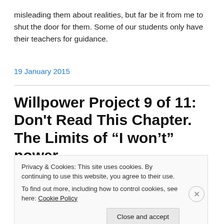misleading them about realities, but far be it from me to shut the door for them. Some of our students only have their teachers for guidance.
19 January 2015
Willpower Project 9 of 11: Don't Read This Chapter. The Limits of “I won’t” power.
Privacy & Cookies: This site uses cookies. By continuing to use this website, you agree to their use.
To find out more, including how to control cookies, see here: Cookie Policy